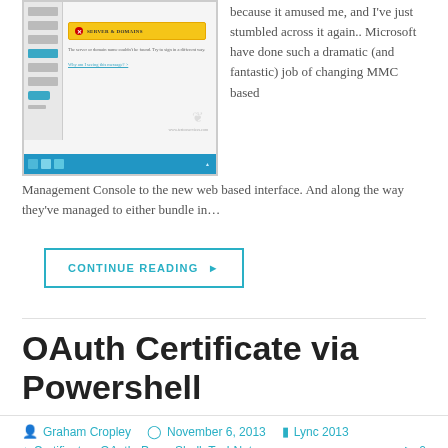[Figure (screenshot): Screenshot of a Windows-style MMC or web-based management console interface showing an error bar with a red circle icon and yellow background, sidebar navigation items, body text, and a blue taskbar at the bottom.]
because it amused me, and I've just stumbled across it again.. Microsoft have done such a dramatic (and fantastic) job of changing MMC based Management Console to the new web based interface. And along the way they've managed to either bundle in…
CONTINUE READING ▶
OAuth Certificate via Powershell
Graham Cropley   November 6, 2013   Lync 2013
Certificates, OAuth, PowerShell, TechNet   0